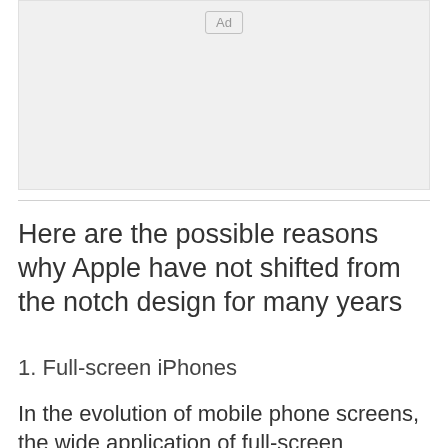[Figure (other): Advertisement placeholder box with 'Ad' label button]
Here are the possible reasons why Apple have not shifted from the notch design for many years
1. Full-screen iPhones
In the evolution of mobile phone screens, the wide application of full-screen technology is a major turning point. On the premise that the